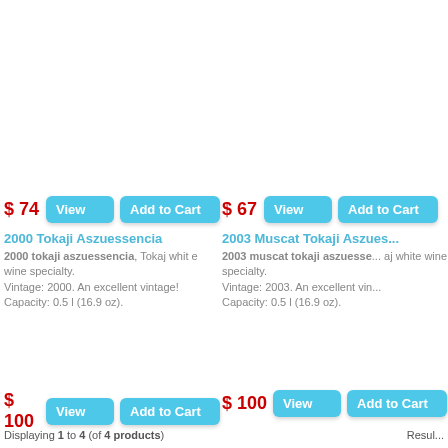$ 74
View
Add to Cart
2000 Tokaji Aszuessencia
2000 tokaji aszuessencia, Tokaj white wine specialty. Vintage: 2000. An excellent vintage! Capacity: 0.5 l (16.9 oz).
$ 67
View
Add to Cart
2003 Muscat Tokaji Aszues...
2003 muscat tokaji aszuesse... aj white wine specialty. Vintage: 2003. An excellent vin... Capacity: 0.5 l (16.9 oz).
$ 100
View
Add to Cart
$ 100
View
Add to Cart
Displaying 1 to 4 (of 4 products)
Resul...